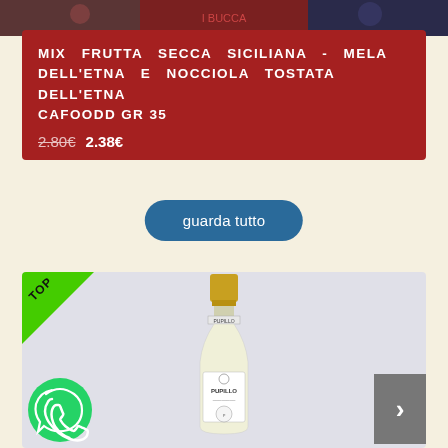[Figure (photo): Partial top image showing a cropped banner with figures/people, partially visible at top of page]
MIX FRUTTA SECCA SICILIANA - MELA DELL'ETNA E NOCCIOLA TOSTATA DELL'ETNA CAFOODD GR 35
2.80€ 2.38€
guarda tutto
[Figure (photo): White wine bottle with gold cap, PUPILLO label, shown against light grey/white background. Green TOP badge in upper left corner. WhatsApp button bottom left, next arrow bottom right.]